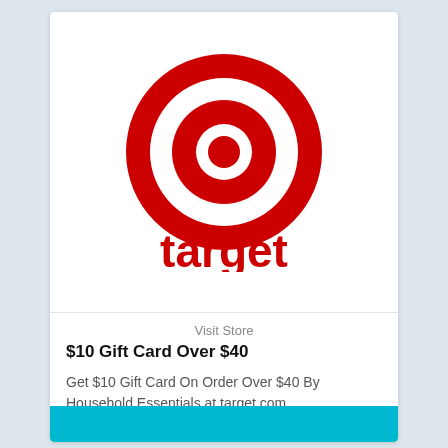[Figure (logo): Target bullseye logo (red concentric circles) with the word 'target' in red below]
Visit Store
$10 Gift Card Over $40
Get $10 Gift Card On Order Over $40 By Household Essentials at target.com